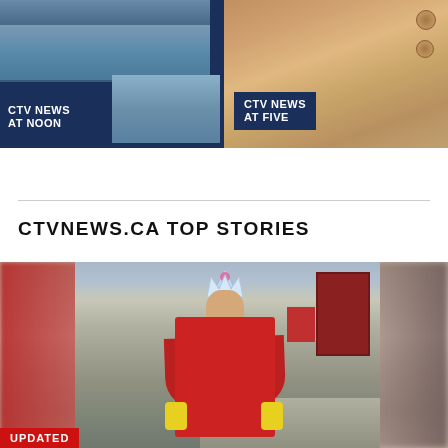[Figure (screenshot): CTV News broadcast banner with dark navy background showing two program tiles: 'CTV NEWS AT NOON' on the left with a city skyline photo, and 'CTV NEWS AT FIVE' on the right with a person in a camel coat]
CTVNEWS.CA TOP STORIES
[Figure (photo): Man wearing red outfit and paper crown holding a microphone/scepter, standing in front of a stone building with a red door, surrounded by other people in red clothing. UPDATED badge at bottom.]